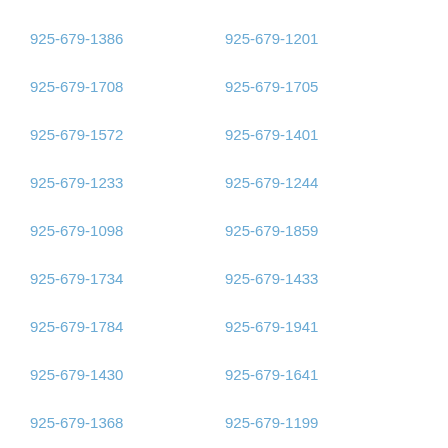925-679-1386
925-679-1201
925-679-1708
925-679-1705
925-679-1572
925-679-1401
925-679-1233
925-679-1244
925-679-1098
925-679-1859
925-679-1734
925-679-1433
925-679-1784
925-679-1941
925-679-1430
925-679-1641
925-679-1368
925-679-1199